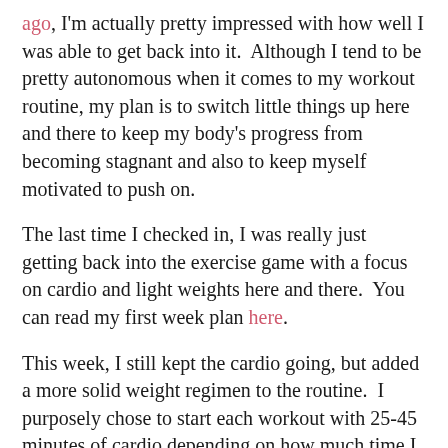ago, I'm actually pretty impressed with how well I was able to get back into it.  Although I tend to be pretty autonomous when it comes to my workout routine, my plan is to switch little things up here and there to keep my body's progress from becoming stagnant and also to keep myself motivated to push on.
The last time I checked in, I was really just getting back into the exercise game with a focus on cardio and light weights here and there.  You can read my first week plan here.
This week, I still kept the cardio going, but added a more solid weight regimen to the routine.  I purposely chose to start each workout with 25-45 minutes of cardio depending on how much time I had available, and then follow up with the strength piece.  Since I still am trying to burn off that layer of fat from December, I kept cardio as my priority by putting it FIRST in the workout.  This way I would not run out of time and end up cutting cardio short, or worse, talk myself out of it altogether.  Getting right on that machine and getting the full amount of time, I had available, helped a lot.